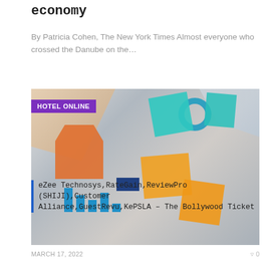economy
By Patricia Cohen, The New York Times Almost everyone who crossed the Danube on the…
[Figure (photo): Overhead view of business people working at a table covered with charts, reports, colorful sticky notes (teal, orange), and a tablet. Multiple hands are visible pointing at and holding documents.]
HOTEL ONLINE
MARCH 17, 2022
0
eZee Technosys,RateGain,ReviewPro (SHIJI),Customer Alliance,GuestRevu,KePSLA – The Bollywood Ticket